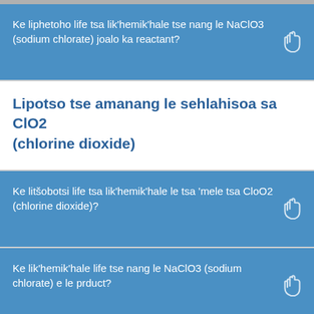Ke liphetoho life tsa lik'hemik'hale tse nang le NaClO3 (sodium chlorate) joalo ka reactant?
Lipotso tse amanang le sehlahisoa sa ClO2 (chlorine dioxide)
Ke litšobotsi life tsa lik'hemik'hale le tsa 'mele tsa CloO2 (chlorine dioxide)?
Ke lik'hemik'hale life tse nang le NaClO3 (sodium chlorate) e le prduct?
Lipotso tse amanang le sehlahisoa NaHSO4 ()
Ke litšobotsi life tsa lik'hemik'hale le tsa 'mele tsa NaHSO4 ()